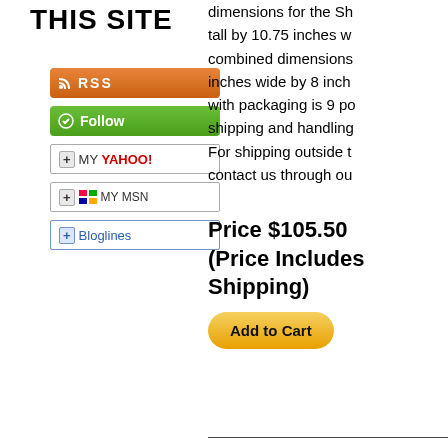THIS SITE
[Figure (other): RSS subscription button - orange gradient button with RSS icon and text 'RSS']
[Figure (other): Follow button - green gradient button with follow icon and text 'Follow']
[Figure (other): Add to My Yahoo! button - white button with +MY YAHOO! text]
[Figure (other): Add to My MSN button - white button with butterfly logo and +MY MSN text]
[Figure (other): Add to Bloglines button - white button with +Bloglines text]
dimensions for the S... tall by 10.75 inches w... combined dimensions... inches wide by 8 inch... with packaging is 9 p... shipping and handling... For shipping outside t... contact us through ou...
Price $105.50 (Price Includes Shipping)
[Figure (other): Add to Cart button - yellow rounded button]